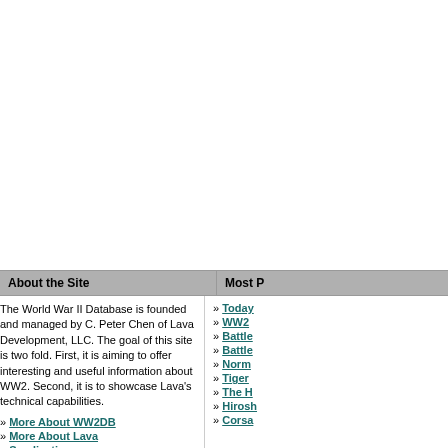About the Site
Most P
The World War II Database is founded and managed by C. Peter Chen of Lava Development, LLC. The goal of this site is two fold. First, it is aiming to offer interesting and useful information about WW2. Second, it is to showcase Lava's technical capabilities.
More About WW2DB
More About Lava
Syndication
Terms of Use & Disclosures
World War II Database Home
Mobile View
Today
WW2
Battle
Battle
Norm
Tiger
The H
Hirosh
Corsa
Copyright © 2004-2022 Lava D